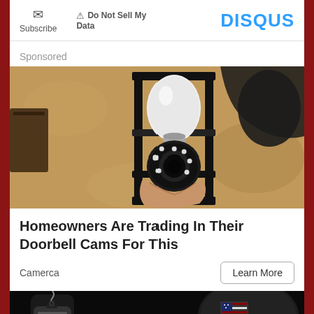Subscribe | Do Not Sell My Data | DISQUS
Sponsored
[Figure (photo): A security camera shaped like a light bulb being installed into an outdoor black lantern-style fixture mounted on a textured stucco wall.]
Homeowners Are Trading In Their Doorbell Cams For This
Camerca
Learn More
[Figure (photo): Dark advertisement image showing dog tags and a military helmet with American flag patch, with red text partially visible at the bottom.]